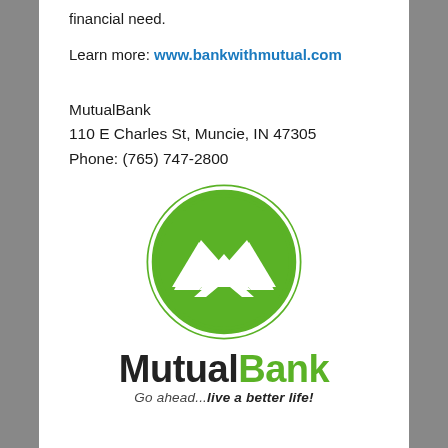financial need.
Learn more: www.bankwithmutual.com
MutualBank
110 E Charles St, Muncie, IN 47305
Phone: (765) 747-2800
[Figure (logo): MutualBank circular green logo mark — a green circle outline containing a white stylized M/chevron shape on a green background]
[Figure (logo): MutualBank wordmark: 'Mutual' in dark/black bold text, 'Bank' in green bold text, with tagline 'Go ahead...live a better life!' in italic below]